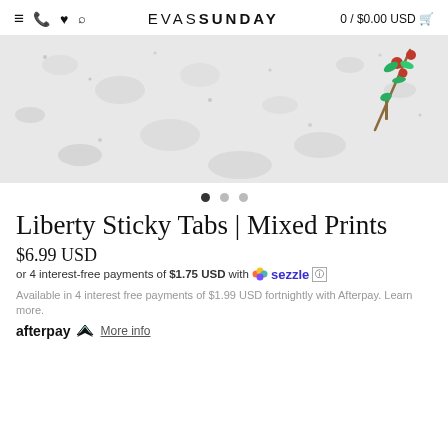≡ 📞 ♥ 🔍  EVAS SUNDAY  0 / $0.00 USD 🛒
[Figure (photo): Hero product image showing a snowy/textured white background with a small floral/botanical decorative element in the top right corner (appears to be a sticky tab product).]
• • •
Liberty Sticky Tabs | Mixed Prints
$6.99 USD
or 4 interest-free payments of $1.75 USD with Sezzle
Available in 4 interest free payments of $1.99 USD fortnightly with Afterpay. Learn more.
afterpay  More info